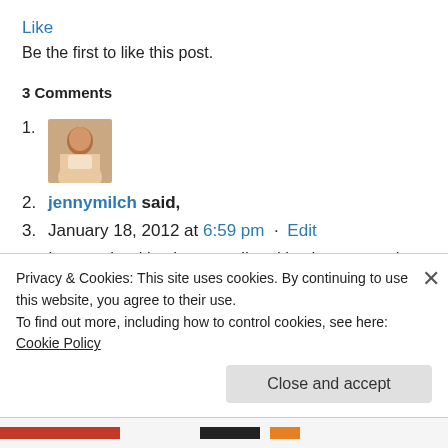Like
Be the first to like this post.
3 Comments
1. [avatar image]
2. jennymilch said,
3. January 18, 2012 at 6:59 pm · Edit
4. I agree that it's about reading, it's about story–but I
Privacy & Cookies: This site uses cookies. By continuing to use this website, you agree to their use.
To find out more, including how to control cookies, see here: Cookie Policy
Close and accept